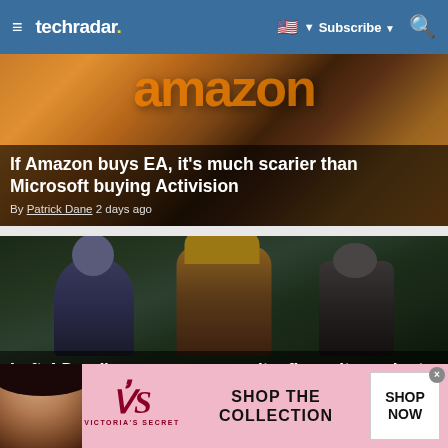techradar | Subscribe | Search
[Figure (photo): Amazon logo background image with article overlay: 'If Amazon buys EA, it's much scarier than Microsoft buying Activision' by Patrick Dane 2 days ago]
If Amazon buys EA, it's much scarier than Microsoft buying Activision
By Patrick Dane 2 days ago
[Figure (photo): Game characters from a Left 4 Dead successor game, showing three armed characters in a dark forest setting]
Left 4 Dead's successor wasn't a flop – it was just 'ahead of its time' say
[Figure (photo): Victoria's Secret advertisement banner with model, VS logo, SHOP THE COLLECTION text and SHOP NOW button]